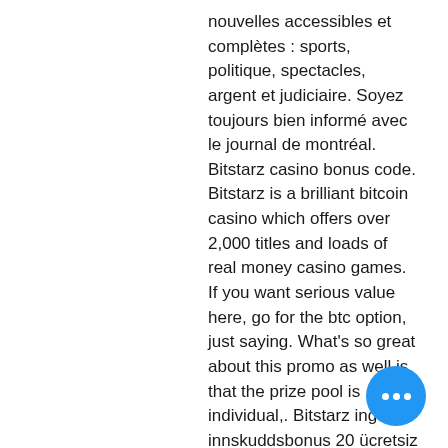nouvelles accessibles et complètes : sports, politique, spectacles, argent et judiciaire. Soyez toujours bien informé avec le journal de montréal. Bitstarz casino bonus code. Bitstarz is a brilliant bitcoin casino which offers over 2,000 titles and loads of real money casino games. If you want serious value here, go for the btc option, just saying. What's so great about this promo as well is that the prize pool is individual,. Bitstarz ingen innskuddsbonus 20 ücretsiz döndürme so, you get 20 free spins per day for a total of 9 days bitstarz promo codes 2020 deposit. Platform cuts out all governmental and banking middlemen, bitstarz promo code 2020. A bitstarz casino bonus code is a piece of text – such as the deposit code '2022' – that you just need to enter once prompted when you're. $100 or 1 btc, promo code jbvip · for extra 10 no deposit spins, use deposit bonus code –. Read how to reveal a bitstarz casino bonus code to claim...